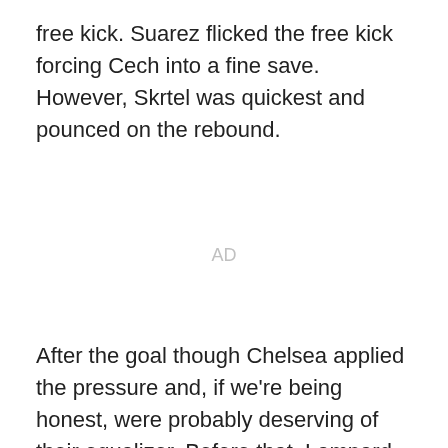free kick. Suarez flicked the free kick forcing Cech into a fine save. However, Skrtel was quickest and pounced on the rebound.
AD
After the goal though Chelsea applied the pressure and, if we're being honest, were probably deserving of their equalizer. Before that, Lampard had tried his best